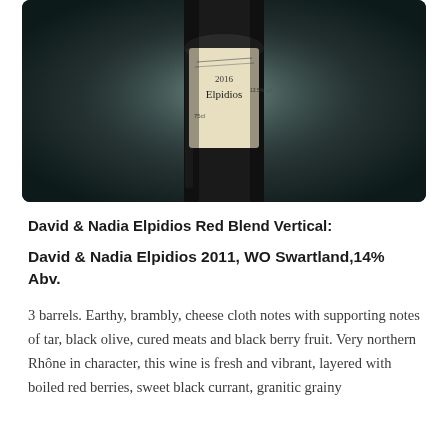[Figure (photo): Close-up photo of a wine bottle label reading '2016 Elpidios' with vintage and alcohol percentage, dark atmospheric background]
David & Nadia Elpidios Red Blend Vertical:
David & Nadia Elpidios 2011, WO Swartland,14% Abv.
3 barrels. Earthy, brambly, cheese cloth notes with supporting notes of tar, black olive, cured meats and black berry fruit. Very northern Rhône in character, this wine is fresh and vibrant, layered with boiled red berries, sweet black currant, granitic grainy